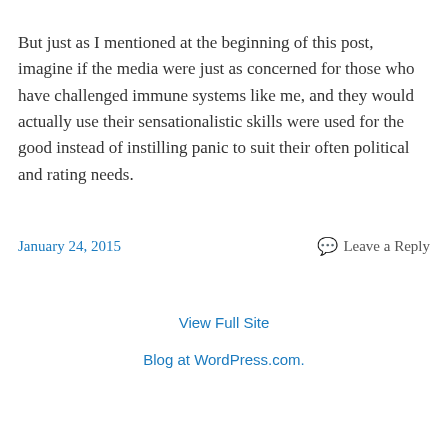But just as I mentioned at the beginning of this post, imagine if the media were just as concerned for those who have challenged immune systems like me, and they would actually use their sensationalistic skills were used for the good instead of instilling panic to suit their often political and rating needs.
January 24, 2015    💬 Leave a Reply
View Full Site
Blog at WordPress.com.